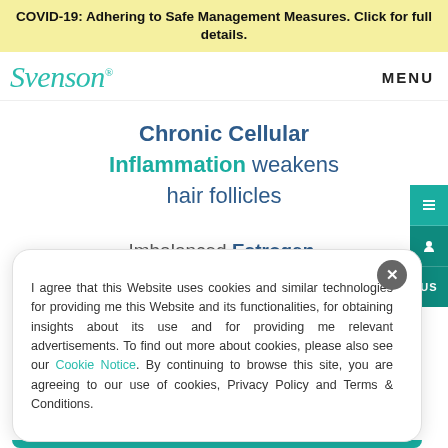COVID-19: Adhering to Safe Management Measures. Click for full details.
[Figure (logo): Svenson brand logo in teal cursive font with trademark symbol]
Chronic Cellular Inflammation weakens hair follicles
Imbalanced Estrogen,
I agree that this Website uses cookies and similar technologies for providing me this Website and its functionalities, for obtaining insights about its use and for providing me relevant advertisements. To find out more about cookies, please also see our Cookie Notice. By continuing to browse this site, you are agreeing to our use of cookies, Privacy Policy and Terms & Conditions.